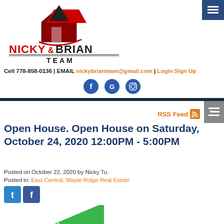[Figure (logo): Nicky & Brian Team real estate logo with house icon in red, black, and gray]
Cell 778-858-0136 | EMAIL nickybrianteam@gmail.com | Login Sign Up
[Figure (infographic): Social media icons: Facebook, Google, Instagram in blue circles]
Open House. Open House on Saturday, October 24, 2020 12:00PM - 5:00PM
Posted on October 22, 2020 by Nicky Tu
Posted in: East Central, Maple Ridge Real Estate
[Figure (infographic): Twitter and Facebook share icons]
[Figure (photo): Partial green Open House banner visible at bottom of page]